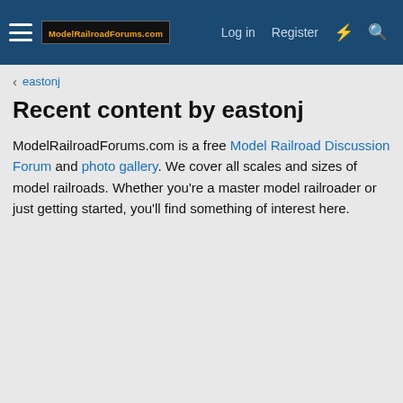ModelRailroadForums.com  Log in  Register
< eastonj
Recent content by eastonj
ModelRailroadForums.com is a free Model Railroad Discussion Forum and photo gallery. We cover all scales and sizes of model railroads. Whether you're a master model railroader or just getting started, you'll find something of interest here.